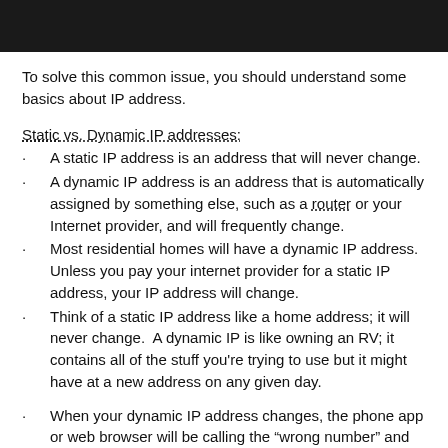To solve this common issue, you should understand some basics about IP address.
Static vs. Dynamic IP addresses:
A static IP address is an address that will never change.
A dynamic IP address is an address that is automatically assigned by something else, such as a router or your Internet provider, and will frequently change.
Most residential homes will have a dynamic IP address. Unless you pay your internet provider for a static IP address, your IP address will change.
Think of a static IP address like a home address; it will never change.  A dynamic IP is like owning an RV; it contains all of the stuff you're trying to use but it might have at a new address on any given day.
When your dynamic IP address changes, the phone app or web browser will be calling the “wrong number” and will not be able to connect to the DVR.
To fix it, you need to enter your new external IP address into IE or the phone app.